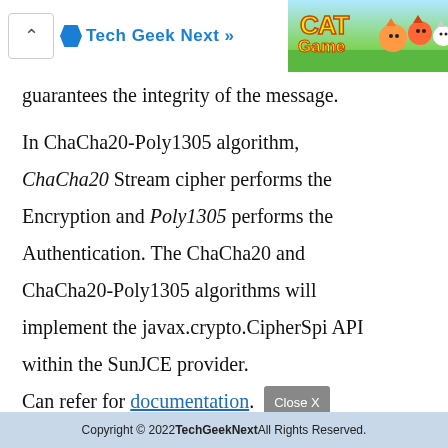Tech Geek Next
[Figure (illustration): Cat Game advertisement banner with cartoon cat characters on a colorful background]
guarantees the integrity of the message.
In ChaCha20-Poly1305 algorithm, ChaCha20 Stream cipher performs the Encryption and Poly1305 performs the Authentication. The ChaCha20 and ChaCha20-Poly1305 algorithms will implement the javax.crypto.CipherSpi API within the SunJCE provider. Can refer for documentation.
Copyright © 2022 TechGeekNext All Rights Reserved.